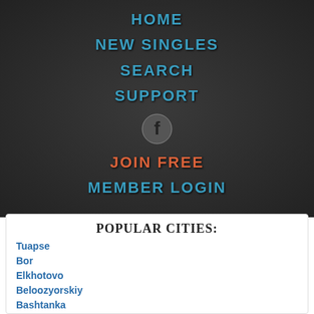HOME
NEW SINGLES
SEARCH
SUPPORT
[Figure (logo): Facebook icon circle logo]
JOIN FREE
MEMBER LOGIN
POPULAR CITIES:
Tuapse
Bor
Elkhotovo
Beloozyorskiy
Bashtanka